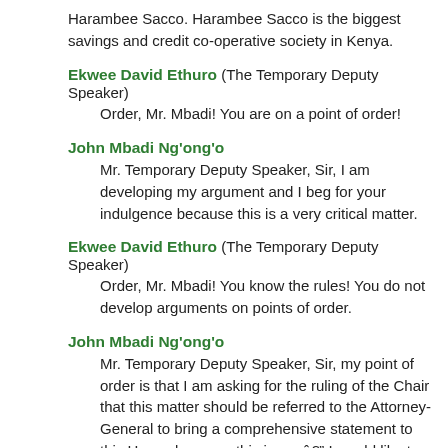Harambee Sacco. Harambee Sacco is the biggest savings and credit co-operative society in Kenya.
Ekwee David Ethuro (The Temporary Deputy Speaker)
Order, Mr. Mbadi! You are on a point of order!
John Mbadi Ng'ong'o
Mr. Temporary Deputy Speaker, Sir, I am developing my argument and I beg for your indulgence because this is a very critical matter.
Ekwee David Ethuro (The Temporary Deputy Speaker)
Order, Mr. Mbadi! You know the rules! You do not develop arguments on points of order.
John Mbadi Ng'ong'o
Mr. Temporary Deputy Speaker, Sir, my point of order is that I am asking for the ruling of the Chair that this matter should be referred to the Attorney- General to bring a comprehensive statement to this House because this issue â I would like to bring it to the attention of this House, that the membership of Harambee Sacco has a panic withdrawal. From May to date, the Harambee Sacco has received 1,115 members withdrawing from the society, amounting to Kshs109 million. If this co-operative